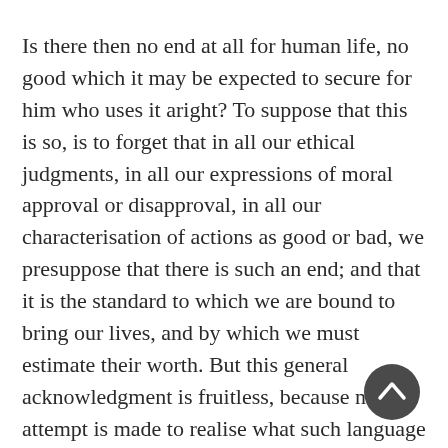Is there then no end at all for human life, no good which it may be expected to secure for him who uses it aright? To suppose that this is so, is to forget that in all our ethical judgments, in all our expressions of moral approval or disapproval, in all our characterisation of actions as good or bad, we presuppose that there is such an end; and that it is the standard to which we are bound to bring our lives, and by which we must estimate their worth. But this general acknowledgment is fruitless, because no attempt is made to realise what such language really means. It is supposed that everyone knows, and just for that reason no one enquires; but so long as no one enquires, it is impossible that ignorance can be removed, or that any remedy can be applied to the ills which ignorance brings with it.
[Figure (other): Dark circular navigation button with an upward-pointing chevron arrow, overlapping the text in the lower right area.]